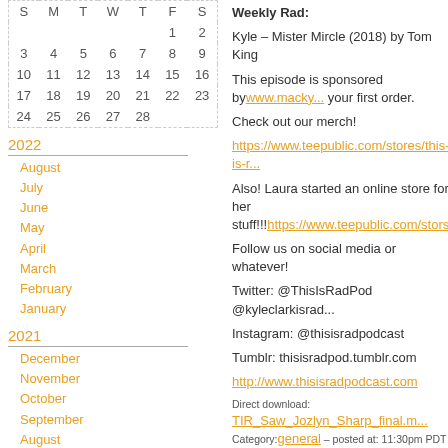| S | M | T | W | T | F | S |
| --- | --- | --- | --- | --- | --- | --- |
|  |  |  |  |  | 1 | 2 |
| 3 | 4 | 5 | 6 | 7 | 8 | 9 |
| 10 | 11 | 12 | 13 | 14 | 15 | 16 |
| 17 | 18 | 19 | 20 | 21 | 22 | 23 |
| 24 | 25 | 26 | 27 | 28 |  |  |
2022
August
July
June
May
April
March
February
January
2021
December
November
October
September
August
July
June
May
April
March
Weekly Rad:
Kyle – Mister Mircle (2018) by Tom King
This episode is sponsored by www.mackw... your first order.
Check out our merch!
https://www.teepublic.com/stores/this-is-r...
Also! Laura started an online store for her stuff!!! https://www.teepublic.com/stors/Im...
Follow us on social media or whatever!
Twitter: @ThisIsRadPod @kyleclarkisrad...
Instagram: @thisisradpodcast
Tumblr: thisisradpod.tumblr.com
http://www.thisisradpodcast.com
Direct download: TIR_Saw_Jozlyn_Sharp_final.mp... Category:general – posted at: 11:30pm PDT
Tue, 19 February 2019
[Figure (other): Podcast logo badge with POD text and circle icon, followed by 'Stuff?' text]
[Figure (photo): Black rectangle (video thumbnail placeholder)]